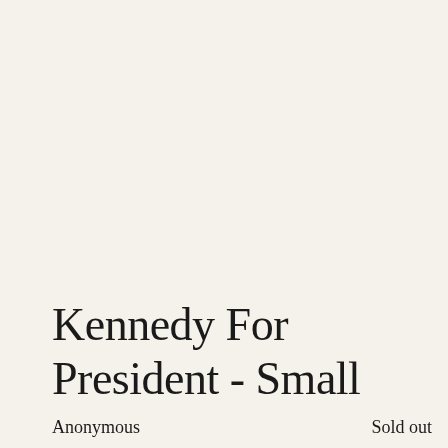Kennedy For President - Small
Anonymous
Sold out